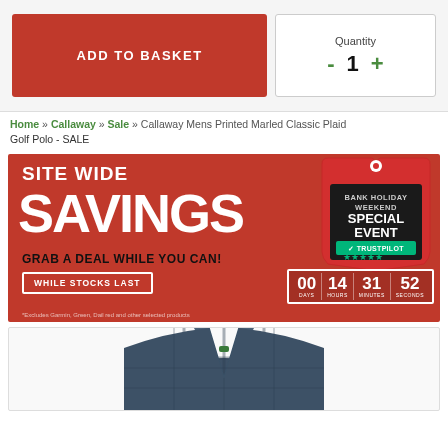ADD TO BASKET
Quantity
- 1 +
Home » Callaway » Sale » Callaway Mens Printed Marled Classic Plaid Golf Polo - SALE
[Figure (infographic): Site Wide Savings promotional banner for Bank Holiday Weekend Special Event with countdown timer showing 00 days, 14 hours, 31 minutes, 52 seconds. Includes Trustpilot rating and 'While Stocks Last' button.]
[Figure (photo): Callaway mens printed marled classic plaid golf polo shirt in dark blue/navy pattern, partially visible from the collar and shoulders.]